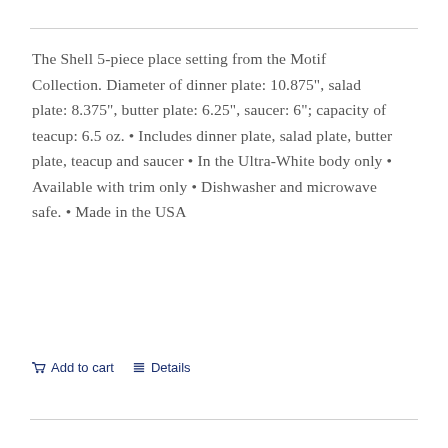The Shell 5-piece place setting from the Motif Collection. Diameter of dinner plate: 10.875", salad plate: 8.375", butter plate: 6.25", saucer: 6"; capacity of teacup: 6.5 oz. • Includes dinner plate, salad plate, butter plate, teacup and saucer • In the Ultra-White body only • Available with trim only • Dishwasher and microwave safe. • Made in the USA
Add to cart
Details